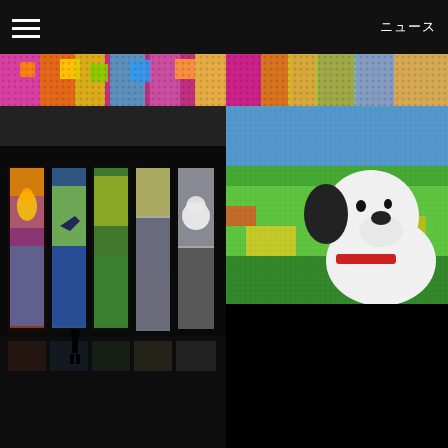≡  　　　　　　　　　　　　　　　　　ニュース
[Figure (photo): Top strip: colorful pixelated/dotted pattern in pink, orange, yellow, green, blue — two panels side by side]
[Figure (photo): Middle left: dark exhibition room with multiple illuminated vertical panels showing colorful animated artwork (Pokemon-like characters, birds, rainbow), small silhouetted figure visible]
[Figure (photo): Middle right: Large LED display showing Snoopy character sitting on colorful pixelated green/yellow background with grid pattern texture]
[Figure (photo): Bottom left: Close-up of Snoopy's face on colorful LED panel with blue sky and green foliage — dark exhibition room setting with silhouetted figure]
[Figure (photo): Bottom right: Extreme close-up of Snoopy's nose/snout area on bright LED display with green/yellow pixelated background]